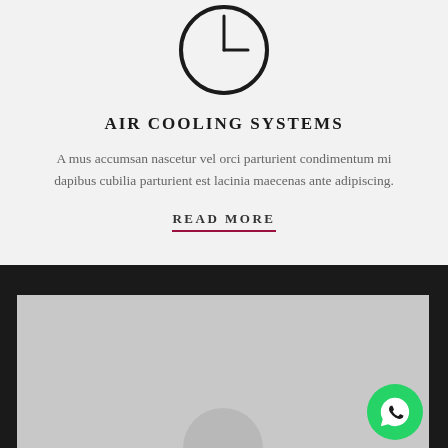[Figure (illustration): Clock icon outline — circle with hour and minute hands pointing to approximately 3 o'clock]
AIR COOLING SYSTEMS
A mus accumsan nascetur vel orci parturient condimentum mi dapibus cubilia parturient est lacinia maecenas ante adipiscing.
READ MORE
[Figure (photo): Dark background section with a gray image area below, partially showing the top of another circular icon at the bottom]